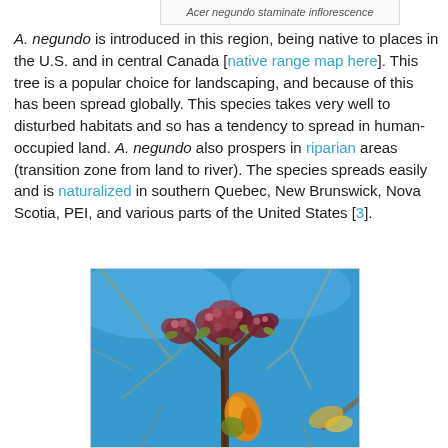Acer negundo staminate inflorescence
A. negundo is introduced in this region, being native to places in the U.S. and in central Canada [native range map here]. This tree is a popular choice for landscaping, and because of this has been spread globally. This species takes very well to disturbed habitats and so has a tendency to spread in human-occupied land. A. negundo also prospers in riparian areas (transition zone from land to river). The species spreads easily and is naturalized in southern Quebec, New Brunswick, Nova Scotia, PEI, and various parts of the United States [3].
[Figure (photo): Close-up photograph of Acer negundo staminate inflorescence (flowers) on bare branches against a bright blue sky, showing red-purple flower clusters and orange-yellow buds]